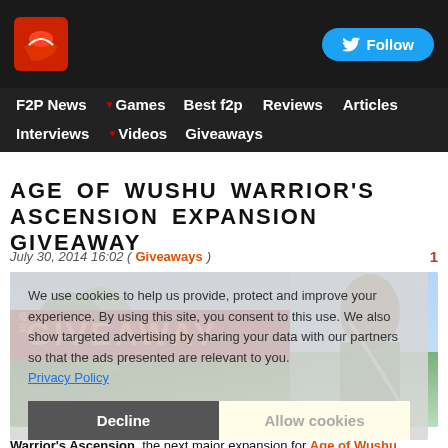F2P.com header with logo and Follow button
F2P News | Games | Best f2p | Reviews | Articles | Interviews | Videos | Giveaways
AGE OF WUSHU WARRIOR'S ASCENSION EXPANSION GIVEAWAY
July 30, 2014 16:02 ( Giveaways ) 1
[Figure (photo): Age of Wushu Warrior's Ascension Giveaway banner with female warrior character]
We use cookies to help us provide, protect and improve your experience. By using this site, you consent to this use. We also show targeted advertising by sharing your data with our partners so that the ads presented are relevant to you. Privacy Policy
Decline | Allow cookies
Warrior's Ascension, the next major expansion for Age of Wushu (known in